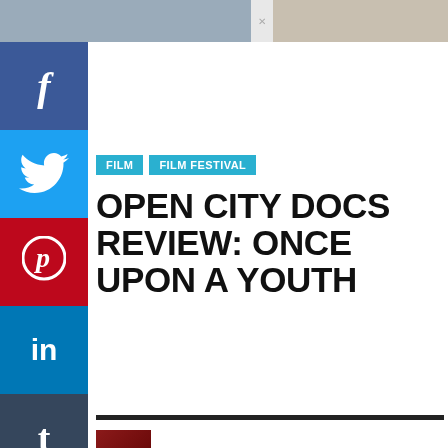[Figure (screenshot): Top image strip showing partial photographs cropped at the top of the page]
[Figure (screenshot): Social media share sidebar with Facebook, Twitter, Pinterest, LinkedIn, and Tumblr buttons on the left edge]
FILM | FILM FESTIVAL
OPEN CITY DOCS REVIEW: ONCE UPON A YOUTH
ROB ALDAM   SEPTEMBER 12, 2020
[Figure (screenshot): Social share icons row: f, Twitter bird, Pinterest SAVE button, WhatsApp, LinkedIn, envelope]
[Figure (screenshot): Infolinks advertisement banner for Top Junior Gold Mining Stock with gold bar image, description 'Get access to the next top mining Micro Cap here!' and url www.rivres.com]